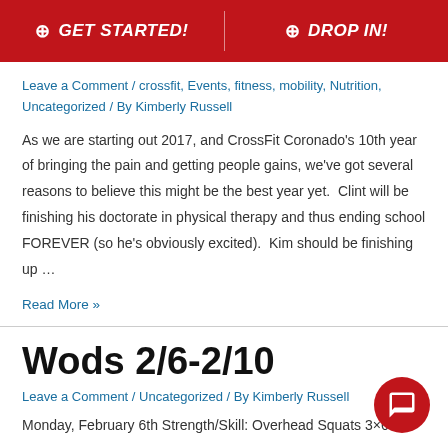GET STARTED! | DROP IN!
Leave a Comment / crossfit, Events, fitness, mobility, Nutrition, Uncategorized / By Kimberly Russell
As we are starting out 2017, and CrossFit Coronado’s 10th year of bringing the pain and getting people gains, we’ve got several reasons to believe this might be the best year yet.  Clint will be finishing his doctorate in physical therapy and thus ending school FOREVER (so he’s obviously excited).  Kim should be finishing up …
Read More »
Wods 2/6-2/10
Leave a Comment / Uncategorized / By Kimberly Russell
Monday, February 6th Strength/Skill: Overhead Squats 3×6